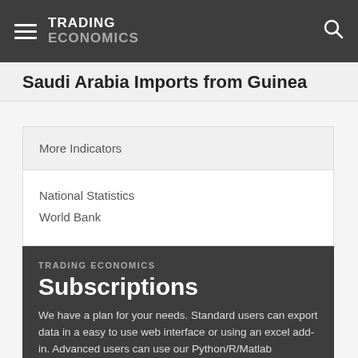TRADING ECONOMICS
Saudi Arabia Imports from Guinea
More Indicators
National Statistics
World Bank
TRADING ECONOMICS
Subscriptions
We have a plan for your needs. Standard users can export data in a easy to use web interface or using an excel add-in. Advanced users can use our Python/R/Matlab packages. API users can feed a custom application. White label accounts